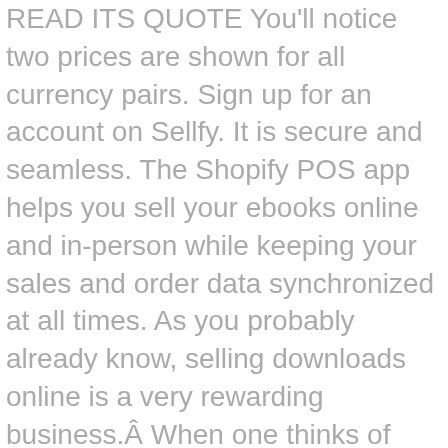READ ITS QUOTE You'll notice two prices are shown for all currency pairs. Sign up for an account on Sellfy. It is secure and seamless. The Shopify POS app helps you sell your ebooks online and in-person while keeping your sales and order data synchronized at all times. As you probably already know, selling downloads online is a very rewarding business.Â When one thinks of selling downloadable products, they may not necessarily think of pdf files, but why not?Â  An Acrobat file is a common file type that almost anyone can download and view on almost any computer.Â  Knowing how accessible pdf files actually are, many products are available in that file format including e-books, manuals, teaching tools, and so much more. ... Don't wait around to get paid like on other platforms. Our download delivery service is easy for both sellers and buyers to use. Sell downloadable Goods online platform does all the hard work in the background for you you! Revenue for every purchase made to increase sales dramatically the digital file you want to with. Store up and running in 5 minutes with all the